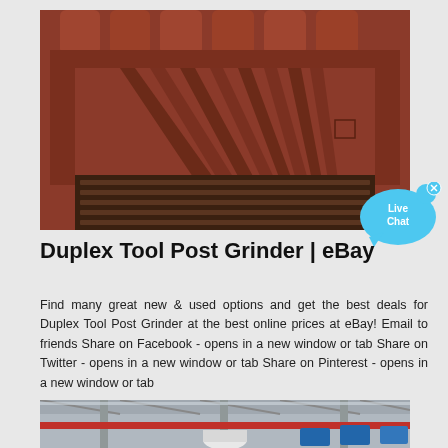[Figure (photo): Close-up interior view of a duplex tool post grinder mechanism, showing red/rust-colored metal parts, cylindrical rods at top, and fan-shaped metal blades or fins below.]
[Figure (infographic): Live Chat bubble icon in cyan/blue with 'Live Chat' text and an X close button.]
Duplex Tool Post Grinder | eBay
Find many great new & used options and get the best deals for Duplex Tool Post Grinder at the best online prices at eBay! Email to friends Share on Facebook - opens in a new window or tab Share on Twitter - opens in a new window or tab Share on Pinterest - opens in a new window or tab
[Figure (photo): Wide industrial warehouse or factory interior with structural steel beams, red horizontal rail or conveyor, white cylindrical equipment, and blue signage banners.]